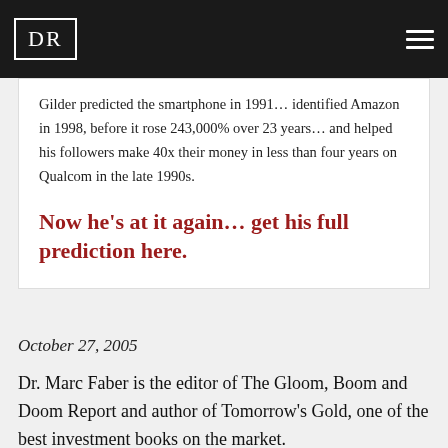DR
Gilder predicted the smartphone in 1991… identified Amazon in 1998, before it rose 243,000% over 23 years… and helped his followers make 40x their money in less than four years on Qualcom in the late 1990s.
Now he's at it again… get his full prediction here.
October 27, 2005
Dr. Marc Faber is the editor of The Gloom, Boom and Doom Report and author of Tomorrow's Gold, one of the best investment books on the market.
Headquartered in Hong Kong for 20 years and now